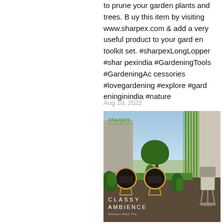to prune your garden plants and trees. Buy this item by visiting www.sharpex.com & add a very useful product to your garden toolkit set. #sharpexLongLopper #sharpexindia #GardeningTools #GardeningAccessories #lovegardening #explore #gardeninginindia #nature
Aug 10, 2022
[Figure (photo): Sharpex branded promotional image showing an outdoor patio/deck area with two rattan egg chairs, tropical plants, a BBQ grill, and a modern building with a green living wall in the background. Text overlay reads 'CLASSY AMBIENCE' and 'Sharpex Deck Tile'. The Sharpex logo (forest & garden solutions) appears in the upper left corner of the image.]